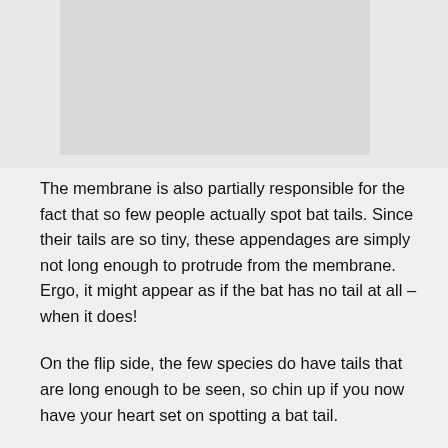[Figure (photo): A photo or illustration area at the top of the page, partially visible, with a light gray background.]
The membrane is also partially responsible for the fact that so few people actually spot bat tails. Since their tails are so tiny, these appendages are simply not long enough to protrude from the membrane. Ergo, it might appear as if the bat has no tail at all – when it does!
On the flip side, the few species do have tails that are long enough to be seen, so chin up if you now have your heart set on spotting a bat tail.